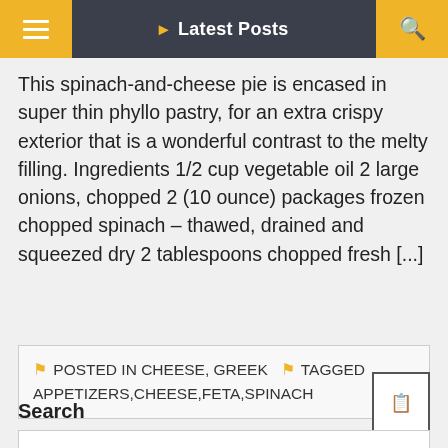Latest Posts
This spinach-and-cheese pie is encased in super thin phyllo pastry, for an extra crispy exterior that is a wonderful contrast to the melty filling. Ingredients 1/2 cup vegetable oil 2 large onions, chopped 2 (10 ounce) packages frozen chopped spinach – thawed, drained and squeezed dry 2 tablespoons chopped fresh [...]
POSTED IN CHEESE, GREEK  TAGGED APPETIZERS,CHEESE,FETA,SPINACH
Search